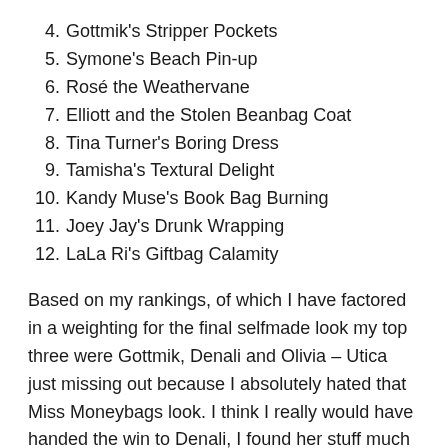4. Gottmik's Stripper Pockets
5. Symone's Beach Pin-up
6. Rosé the Weathervane
7. Elliott and the Stolen Beanbag Coat
8. Tina Turner's Boring Dress
9. Tamisha's Textural Delight
10. Kandy Muse's Book Bag Burning
11. Joey Jay's Drunk Wrapping
12. LaLa Ri's Giftbag Calamity
Based on my rankings, of which I have factored in a weighting for the final selfmade look my top three were Gottmik, Denali and Olivia – Utica just missing out because I absolutely hated that Miss Moneybags look. I think I really would have handed the win to Denali, I found her stuff much more interesting and engaging whereas Gottmilk's I found grand but overwhelming. That's this week's hot take.
My bottom three remain the same with it being Joey,